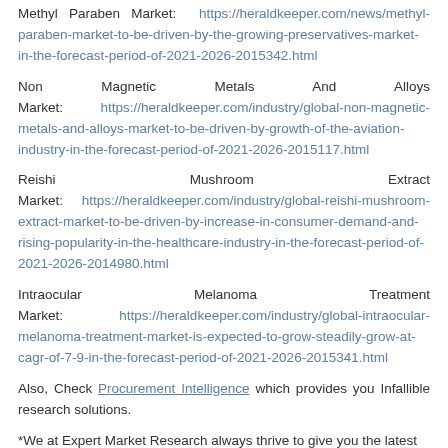Methyl Paraben Market: https://heraldkeeper.com/news/methyl-paraben-market-to-be-driven-by-the-growing-preservatives-market-in-the-forecast-period-of-2021-2026-2015342.html
Non Magnetic Metals And Alloys Market: https://heraldkeeper.com/industry/global-non-magnetic-metals-and-alloys-market-to-be-driven-by-growth-of-the-aviation-industry-in-the-forecast-period-of-2021-2026-2015117.html
Reishi Mushroom Extract Market: https://heraldkeeper.com/industry/global-reishi-mushroom-extract-market-to-be-driven-by-increase-in-consumer-demand-and-rising-popularity-in-the-healthcare-industry-in-the-forecast-period-of-2021-2026-2014980.html
Intraocular Melanoma Treatment Market: https://heraldkeeper.com/industry/global-intraocular-melanoma-treatment-market-is-expected-to-grow-steadily-grow-at-cagr-of-7-9-in-the-forecast-period-of-2021-2026-2015341.html
Also, Check Procurement Intelligence which provides you Infallible research solutions.
*We at Expert Market Research always thrive to give you the latest